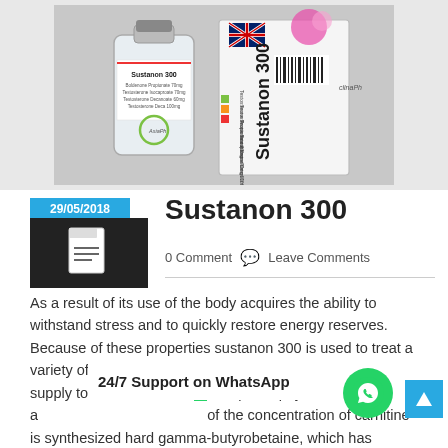[Figure (photo): Photo of Sustanon 300 vial and box packaging from AsiaPharma/ClinaPh, with UK flag visible on the box]
29/05/2018
Sustanon 300
0 Comment  Leave Comments
As a result of its use of the body acquires the ability to withstand stress and to quickly restore energy reserves. Because of these properties sustanon 300 is used to treat a variety of disorders of the cardiovascular system, the blood supply to the brain, as well to improve physical a... of the concentration of carnitine is synthesized hard gamma-butyrobetaine, which has vasodilating properties. In the case of